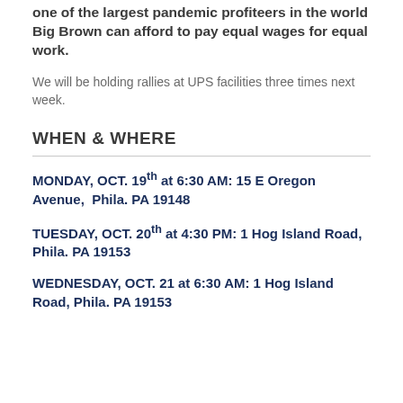one of the largest pandemic profiteers in the world Big Brown can afford to pay equal wages for equal work.
We will be holding rallies at UPS facilities three times next week.
WHEN & WHERE
MONDAY, OCT. 19th at 6:30 AM: 15 E Oregon Avenue,  Phila. PA 19148
TUESDAY, OCT. 20th at 4:30 PM: 1 Hog Island Road, Phila. PA 19153
WEDNESDAY, OCT. 21 at 6:30 AM: 1 Hog Island Road, Phila. PA 19153